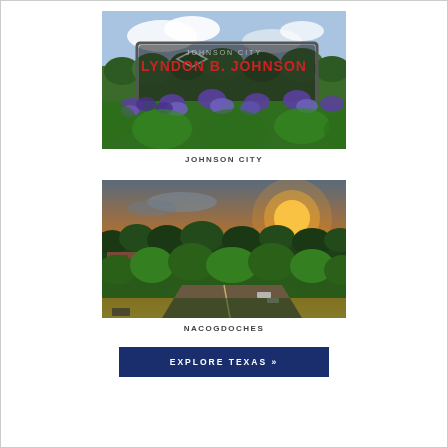[Figure (photo): Photo of a Lyndon B. Johnson National Historic Park sign with bluebonnets in the foreground, Johnson City, Texas]
JOHNSON CITY
[Figure (photo): Aerial photo of downtown Nacogdoches, Texas at sunset showing streets, trees, and brick buildings]
NACOGDOCHES
EXPLORE TEXAS »